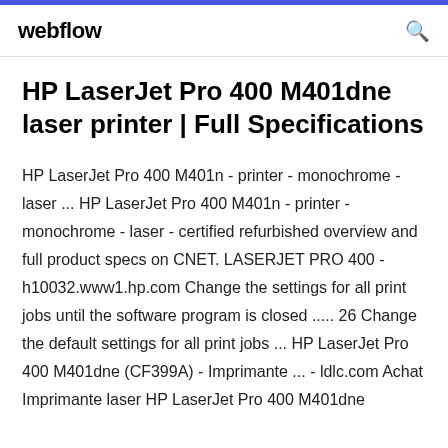webflow
HP LaserJet Pro 400 M401dne laser printer | Full Specifications
HP LaserJet Pro 400 M401n - printer - monochrome - laser ... HP LaserJet Pro 400 M401n - printer - monochrome - laser - certified refurbished overview and full product specs on CNET. LASERJET PRO 400 - h10032.www1.hp.com Change the settings for all print jobs until the software program is closed ..... 26 Change the default settings for all print jobs ... HP LaserJet Pro 400 M401dne (CF399A) - Imprimante ... - ldlc.com Achat Imprimante laser HP LaserJet Pro 400 M401dne